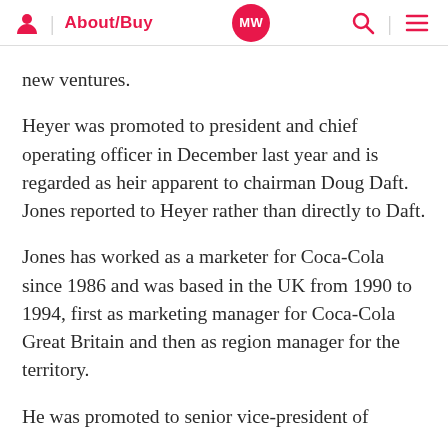About/Buy | MW
new ventures.
Heyer was promoted to president and chief operating officer in December last year and is regarded as heir apparent to chairman Doug Daft. Jones reported to Heyer rather than directly to Daft.
Jones has worked as a marketer for Coca-Cola since 1986 and was based in the UK from 1990 to 1994, first as marketing manager for Coca-Cola Great Britain and then as region manager for the territory.
He was promoted to senior vice-president of